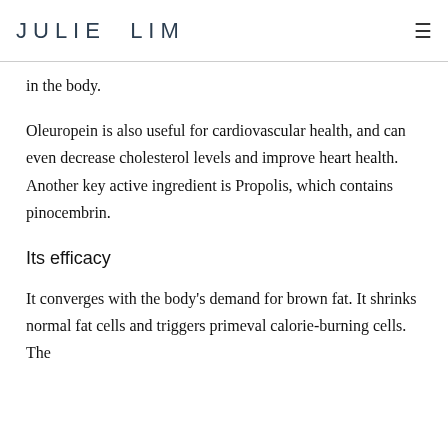JULIE LIM
in the body.
Oleuropein is also useful for cardiovascular health, and can even decrease cholesterol levels and improve heart health. Another key active ingredient is Propolis, which contains pinocembrin.
Its efficacy
It converges with the body's demand for brown fat. It shrinks normal fat cells and triggers primeval calorie-burning cells. The